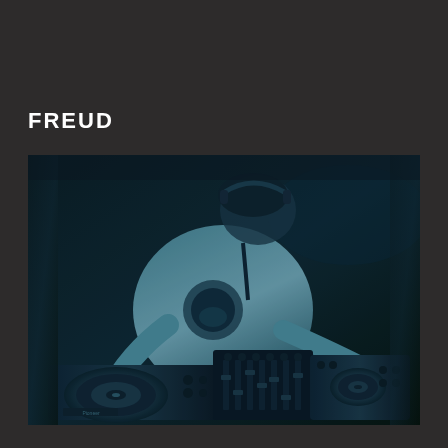FREUD
[Figure (photo): A DJ wearing a white t-shirt with a graphic print, leaning over Pioneer DJ equipment (turntables and mixer), photographed in a dark venue with a blue-teal tonal treatment. The image is in a duotone/monochromatic blue-teal style.]